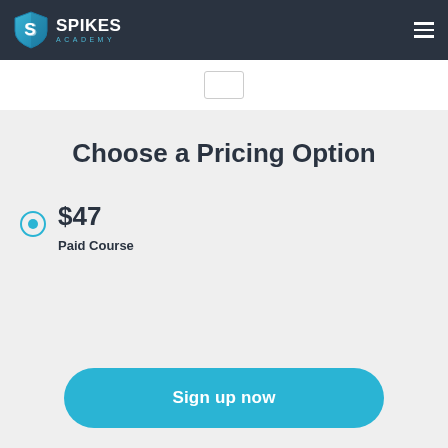Spikes Academy
Choose a Pricing Option
$47 — Paid Course
Sign up now